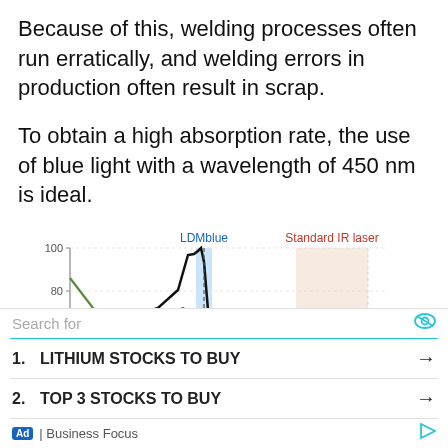Because of this, welding processes often run erratically, and welding errors in production often result in scrap.
To obtain a high absorption rate, the use of blue light with a wavelength of 450 nm is ideal.
[Figure (continuous-plot): Line chart showing absorption rate vs wavelength for various materials. LDMblue label at ~450nm (blue vertical band), Standard IR laser label at right (beige/pink shaded region). Y-axis shows % up to 100, labeled at 60, 80, 100. Lines: black peak near 450nm, green line declining, red/orange lines. 'Au' label near 450nm region.]
Search for
1. LITHIUM STOCKS TO BUY
2. TOP 3 STOCKS TO BUY
Ad | Business Focus